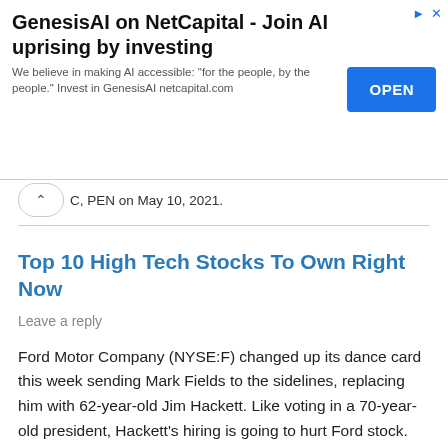[Figure (other): Advertisement banner for GenesisAI on NetCapital with OPEN button]
C, PEN on May 10, 2021.
Top 10 High Tech Stocks To Own Right Now
Leave a reply
Ford Motor Company (NYSE:F) changed up its dance card this week sending Mark Fields to the sidelines, replacing him with 62-year-old Jim Hackett. Like voting in a 70-year-old president, Hackett's hiring is going to hurt Ford stock.